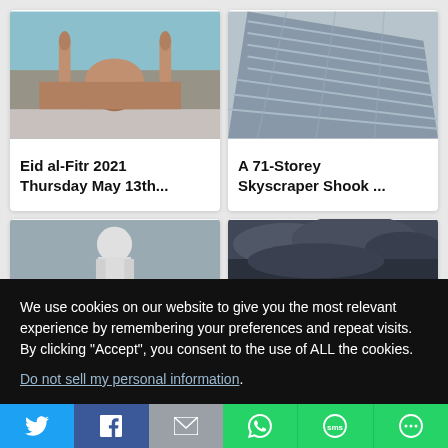[Figure (photo): Mosque (Jama Masjid style) with minarets, crowd gathered in front, blue sky background]
Eid al-Fitr 2021 Thursday May 13th...
[Figure (photo): Looking up at a tall glass skyscraper building from below at an angle]
A 71-Storey Skyscraper Shook ...
[Figure (photo): Person in PPE protective suit]
[Figure (photo): Dark storm clouds in the sky]
We use cookies on our website to give you the most relevant experience by remembering your preferences and repeat visits. By clicking “Accept”, you consent to the use of ALL the cookies.
Do not sell my personal information.